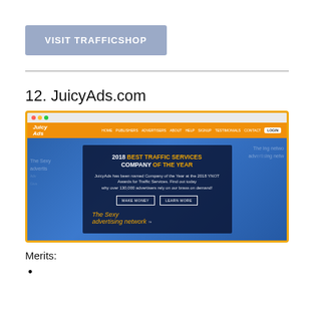[Figure (screenshot): Button labeled VISIT TRAFFICSHOP with light blue-gray background]
[Figure (screenshot): Screenshot of JuicyAds.com website showing orange and blue design with '2018 Best Traffic Services Company of the Year' award banner and 'The Sexy advertising network' tagline]
12. JuicyAds.com
Merits: